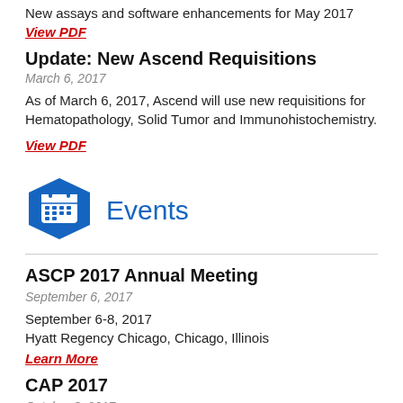New assays and software enhancements for May 2017
View PDF
Update: New Ascend Requisitions
March 6, 2017
As of March 6, 2017, Ascend will use new requisitions for Hematopathology, Solid Tumor and Immunohistochemistry.
View PDF
Events
ASCP 2017 Annual Meeting
September 6, 2017
September 6-8, 2017
Hyatt Regency Chicago, Chicago, Illinois
Learn More
CAP 2017
October 8, 2017
October 8-11, 2017
Gaylord National, Maryland (Washington D.C. area)